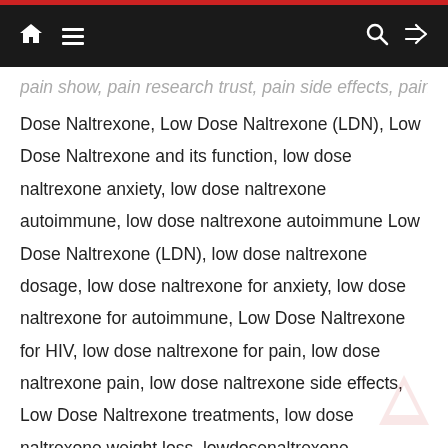Navigation bar with home, menu, search, and shuffle icons
pain show, pain research trust, pain side effects, pain therapy, Low Dose Naltrexone, Low Dose Naltrexone (LDN), Low Dose Naltrexone and its function, low dose naltrexone anxiety, low dose naltrexone autoimmune, low dose naltrexone autoimmune Low Dose Naltrexone (LDN), low dose naltrexone dosage, low dose naltrexone for anxiety, low dose naltrexone for autoimmune, Low Dose Naltrexone for HIV, low dose naltrexone for pain, low dose naltrexone pain, low dose naltrexone side effects, Low Dose Naltrexone treatments, low dose naltrexone weight loss, lowdosenaltrexone, Medication for Autism Spectrum Disorder, Naltrexone, naltrexone for pain, naltrexone low dose, naltrexone off label uses Ultra low-dose naltrexone, Oxytocin, Oxytocin Nasal Spray, side effects of LDN, side effects of low dose naltrexone, treatment with Low Dose Naltrexone, use of Low Dose Naltrexone, uses of Low Dose Naltrexone, uses of Low Dose Naltrexone (LDN), vitamins for women's sexual health, what is ldn,